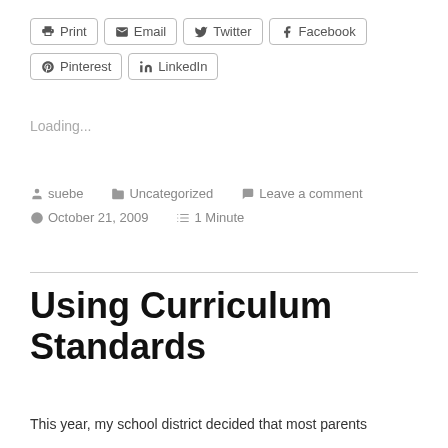Print  Email  Twitter  Facebook  Pinterest  LinkedIn
Loading...
suebe  Uncategorized  Leave a comment  October 21, 2009  1 Minute
Using Curriculum Standards
This year, my school district decided that most parents